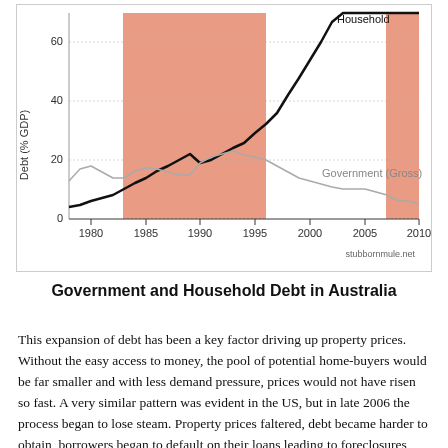[Figure (line-chart): Government and Household Debt in Australia]
Government and Household Debt in Australia
This expansion of debt has been a key factor driving up property prices. Without the easy access to money, the pool of potential home-buyers would be far smaller and with less demand pressure, prices would not have risen so fast. A very similar pattern was evident in the US, but in late 2006 the process began to lose steam. Property prices faltered, debt became harder to obtain, borrowers began to default on their loans leading to foreclosures and, eventually, further...